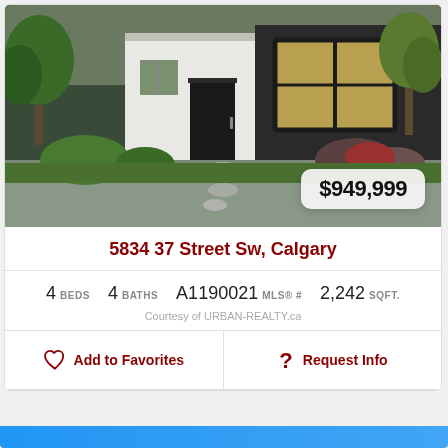[Figure (photo): Exterior photo of a modern single-family home with large windows, white and dark grey siding, green landscaping with shrubs and a stone walkway]
$949,999
5834 37 Street Sw, Calgary
4 BEDS   4 BATHS   A1190021 MLS® #   2,242 SQFT.
Courtesy of URBAN-REALTY.ca
♡ Add to Favorites
? Request Info